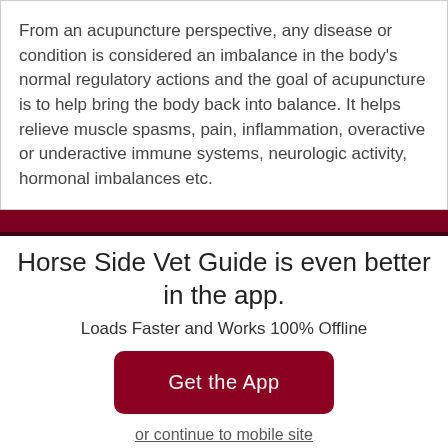From an acupuncture perspective, any disease or condition is considered an imbalance in the body's normal regulatory actions and the goal of acupuncture is to help bring the body back into balance. It helps relieve muscle spasms, pain, inflammation, overactive or underactive immune systems, neurologic activity, hormonal imbalances etc.
Horse Side Vet Guide is even better in the app.
Loads Faster and Works 100% Offline
Get the App
or continue to mobile site